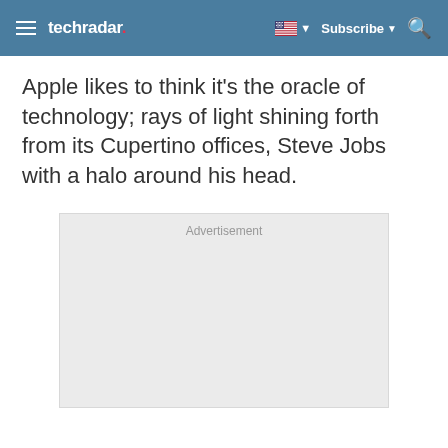techradar
Apple likes to think it's the oracle of technology; rays of light shining forth from its Cupertino offices, Steve Jobs with a halo around his head.
[Figure (other): Advertisement placeholder box with light gray background and 'Advertisement' label text]